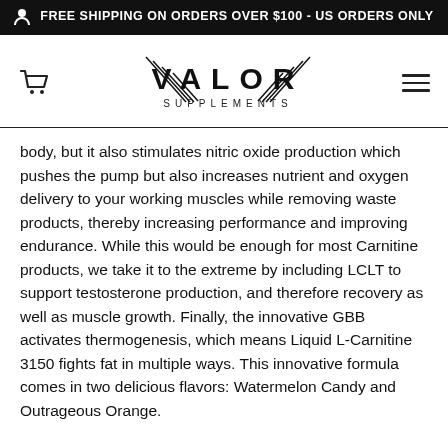FREE SHIPPING ON ORDERS OVER $100 - US ORDERS ONLY
[Figure (logo): Valor Supplements logo with decorative wing/slash marks on either side of VALOR SUPPLEMENTS text]
body, but it also stimulates nitric oxide production which pushes the pump but also increases nutrient and oxygen delivery to your working muscles while removing waste products, thereby increasing performance and improving endurance. While this would be enough for most Carnitine products, we take it to the extreme by including LCLT to support testosterone production, and therefore recovery as well as muscle growth. Finally, the innovative GBB activates thermogenesis, which means Liquid L-Carnitine 3150 fights fat in multiple ways. This innovative formula comes in two delicious flavors: Watermelon Candy and Outrageous Orange.